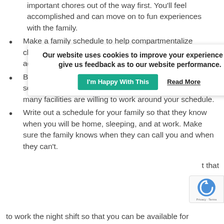important chores out of the way first. You'll feel accomplished and can move on to fun experiences with the family.
Make a family schedule to help compartmentalize chores vs family activities so that chores don't accidentally flow over into family time.
Be honest with your boss or recruiter about your scheduling needs. You may be surprised to find that many facilities are willing to work around your schedule.
Write out a schedule for your family so that they know when you will be home, sleeping, and at work. Make sure the family knows when they can call you and when they can't.
Our website uses cookies to improve your experience and give us feedback as to our website performance.
t that
to work the night shift so that you can be available for